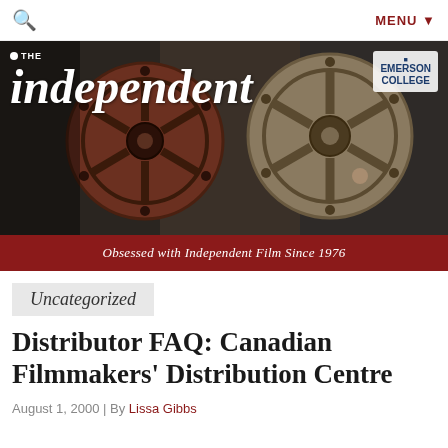🔍  MENU ▼
[Figure (illustration): The Independent magazine banner featuring film reels on a dark background with the masthead 'the independent' in large white serif italic font and 'Emerson College' logo in top right, with red strip at bottom reading 'Obsessed with Independent Film Since 1976']
Uncategorized
Distributor FAQ: Canadian Filmmakers' Distribution Centre
August 1, 2000 | By Lissa Gibbs